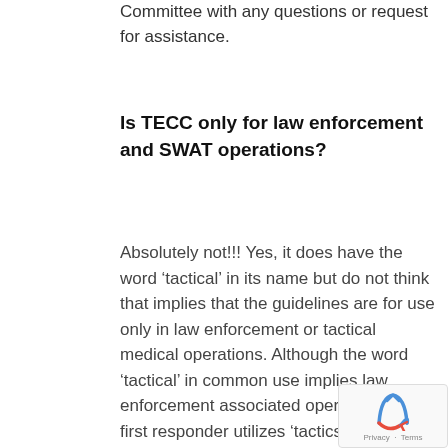Committee with any questions or request for assistance.
Is TECC only for law enforcement and SWAT operations?
Absolutely not!!! Yes, it does have the word ‘tactical’ in its name but do not think that implies that the guidelines are for use only in law enforcement or tactical medical operations. Although the word ‘tactical’ in common use implies law enforcement associated operations, every first responder utilizes ‘tactics’ on every call every day. The Committee uses the word tactical to refer to the operational